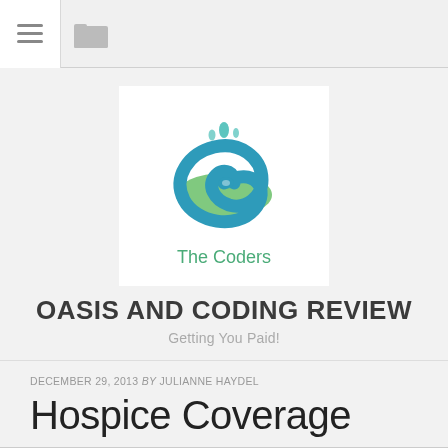Navigation bar with hamburger menu and folder icons
[Figure (logo): The Coders logo — a swirling teal/green spiral with water droplet splash above, and text 'The Coders' in teal below]
OASIS AND CODING REVIEW
Getting You Paid!
DECEMBER 29, 2013 by JULIANNE HAYDEL
Hospice Coverage